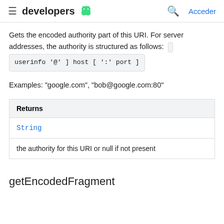developers | Acceder
Gets the encoded authority part of this URI. For server addresses, the authority is structured as follows: [ userinfo '@' ] host [ ':' port ]
Examples: "google.com", "bob@google.com:80"
| Returns |
| --- |
| String | the authority for this URI or null if not present |
getEncodedFragment